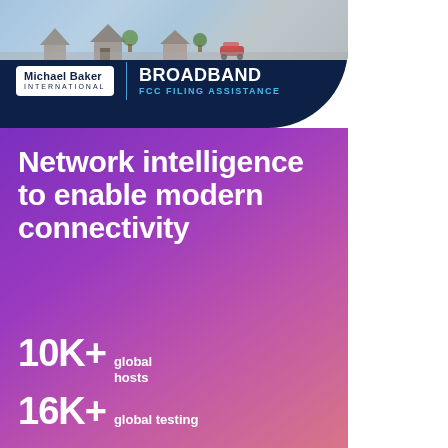[Figure (logo): Michael Baker International logo with Broadband FCC Filing Assistance branding on dark navy background with illustrated suburban scene at top]
Network intelligence to enable modern connectivity
10K+ global hosts
16K+ global testing